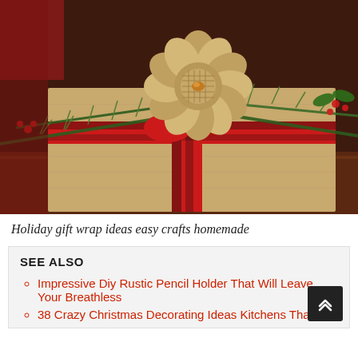[Figure (photo): A holiday gift wrapped in kraft brown paper with a red and black buffalo plaid ribbon and a burlap rosette flower decoration, surrounded by pine branches and holly with red berries, placed on a wooden surface.]
Holiday gift wrap ideas easy crafts homemade
SEE ALSO
Impressive Diy Rustic Pencil Holder That Will Leave Your Breathless
38 Crazy Christmas Decorating Ideas Kitchens That